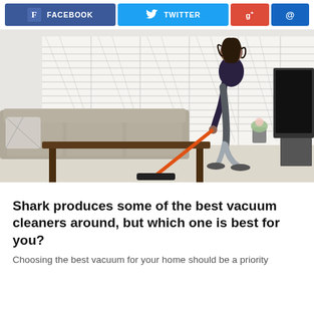[Figure (infographic): Social share bar with Facebook, Twitter, Google+, and email buttons]
[Figure (photo): Woman using a stick vacuum cleaner in a living room with white shuttered windows, a grey sofa, and a dark coffee table. A TV is visible on the right. She is holding an orange and black vacuum cleaner.]
Shark produces some of the best vacuum cleaners around, but which one is best for you?
Choosing the best vacuum for your home should be a priority